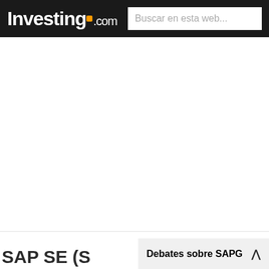Investing.com — Buscar en esta web...
[Figure (screenshot): White empty content area between header and bottom section]
SAP SE (S
Debates sobre SAPG